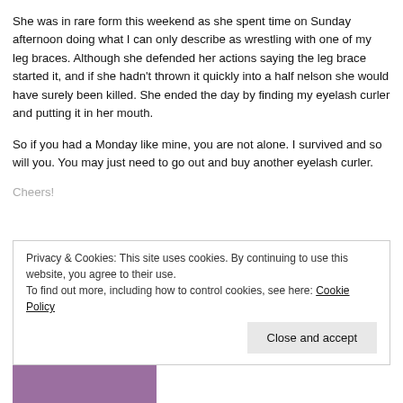She was in rare form this weekend as she spent time on Sunday afternoon doing what I can only describe as wrestling with one of my leg braces. Although she defended her actions saying the leg brace started it, and if she hadn't thrown it quickly into a half nelson she would have surely been killed. She ended the day by finding my eyelash curler and putting it in her mouth.
So if you had a Monday like mine, you are not alone. I survived and so will you. You may just need to go out and buy another eyelash curler.
Cheers!
Privacy & Cookies: This site uses cookies. By continuing to use this website, you agree to their use.
To find out more, including how to control cookies, see here: Cookie Policy
Close and accept